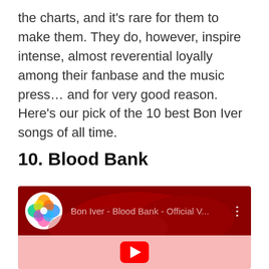the charts, and it's rare for them to make them. They do, however, inspire intense, almost reverential loyally among their fanbase and the music press… and for very good reason. Here's our pick of the 10 best Bon Iver songs of all time.
10. Blood Bank
[Figure (screenshot): YouTube embed thumbnail for 'Bon Iver - Blood Bank - Official V...' showing a dark red background with colorful circular icon and video title bar, plus a play button overlay on a light pink background.]